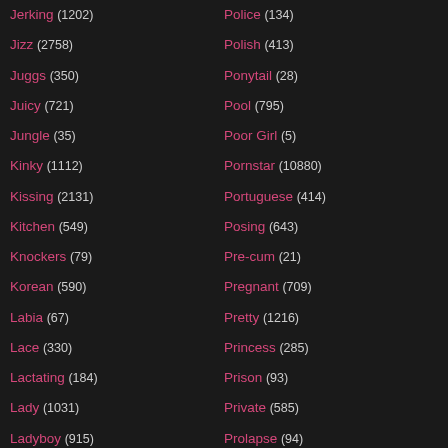Jerking (1202)
Jizz (2758)
Juggs (350)
Juicy (721)
Jungle (35)
Kinky (1112)
Kissing (2131)
Kitchen (549)
Knockers (79)
Korean (590)
Labia (67)
Lace (330)
Lactating (184)
Lady (1031)
Ladyboy (915)
Lap Dance (151)
Police (134)
Polish (413)
Ponytail (28)
Pool (795)
Poor Girl (5)
Pornstar (10880)
Portuguese (414)
Posing (643)
Pre-cum (21)
Pregnant (709)
Pretty (1216)
Princess (285)
Prison (93)
Private (585)
Prolapse (94)
Prostate (74)